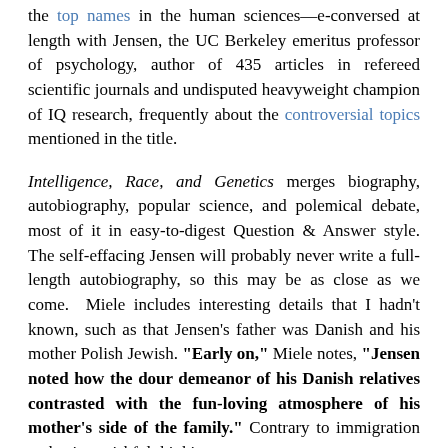the top names in the human sciences—e-conversed at length with Jensen, the UC Berkeley emeritus professor of psychology, author of 435 articles in refereed scientific journals and undisputed heavyweight champion of IQ research, frequently about the controversial topics mentioned in the title.
Intelligence, Race, and Genetics merges biography, autobiography, popular science, and polemical debate, most of it in easy-to-digest Question & Answer style. The self-effacing Jensen will probably never write a full-length autobiography, so this may be as close as we come. Miele includes interesting details that I hadn't known, such as that Jensen's father was Danish and his mother Polish Jewish. "Early on," Miele notes, "Jensen noted how the dour demeanor of his Danish relatives contrasted with the fun-loving atmosphere of his mother's side of the family." Contrary to immigration enthusiast wishful thinking,